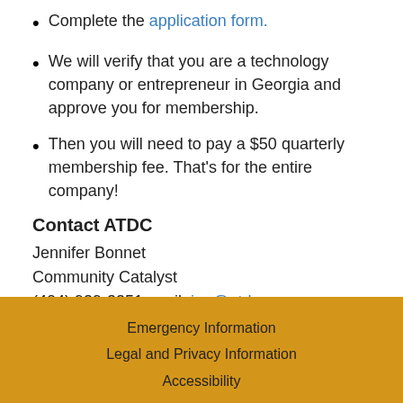Complete the application form.
We will verify that you are a technology company or entrepreneur in Georgia and approve you for membership.
Then you will need to pay a $50 quarterly membership fee. That's for the entire company!
Contact ATDC
Jennifer Bonnet
Community Catalyst
(404) 939-3351 email: jen@atdc.org
[Figure (other): Resources dropdown button with chevron icon]
Emergency Information
Legal and Privacy Information
Accessibility